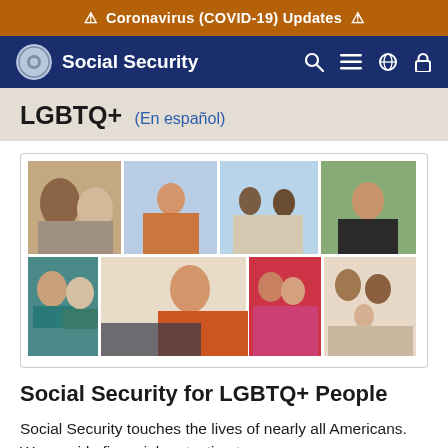⚠ Coronavirus (COVID-19) Updates ⚠
Social Security
LGBTQ+ (En español)
[Figure (photo): Collage of diverse LGBTQ+ people including couples, families, and individuals in various settings]
Social Security for LGBTQ+ People
Social Security touches the lives of nearly all Americans. We provide financial protection to